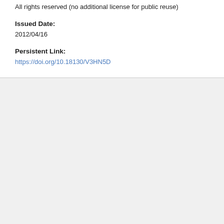All rights reserved (no additional license for public reuse)
Issued Date:
2012/04/16
Persistent Link:
https://doi.org/10.18130/V3HN5D